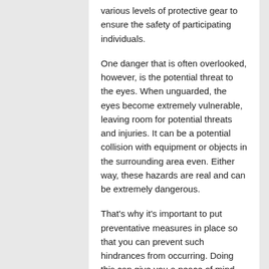various levels of protective gear to ensure the safety of participating individuals.
One danger that is often overlooked, however, is the potential threat to the eyes. When unguarded, the eyes become extremely vulnerable, leaving room for potential threats and injuries. It can be a potential collision with equipment or objects in the surrounding area even. Either way, these hazards are real and can be extremely dangerous.
That's why it's important to put preventative measures in place so that you can prevent such hindrances from occurring. Doing this can give you a peace of mind that your child's safety is secure as you watch them participate in the things they love most.
There are sports glasses for kids that can